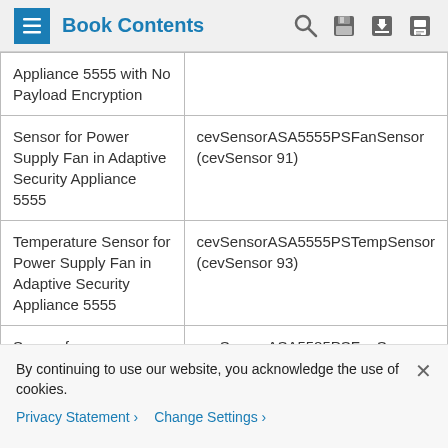Book Contents
| Appliance 5555 with No Payload Encryption |  |
| Sensor for Power Supply Fan in Adaptive Security Appliance 5555 | cevSensorASA5555PSFanSensor (cevSensor 91) |
| Temperature Sensor for Power Supply Fan in Adaptive Security Appliance 5555 | cevSensorASA5555PSTempSensor (cevSensor 93) |
| Sensor for power | cevSensorASA5585PSFanSensor |
By continuing to use our website, you acknowledge the use of cookies.
Privacy Statement  Change Settings